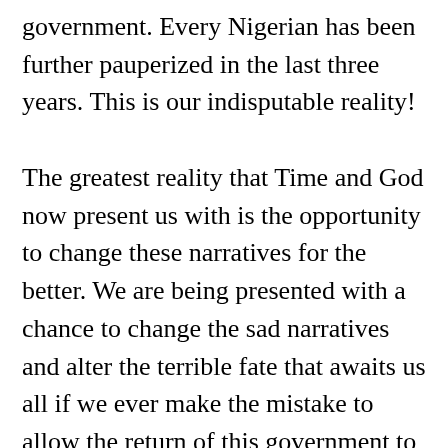government. Every Nigerian has been further pauperized in the last three years. This is our indisputable reality!
The greatest reality that Time and God now present us with is the opportunity to change these narratives for the better. We are being presented with a chance to change the sad narratives and alter the terrible fate that awaits us all if we ever make the mistake to allow the return of this government to power in 2019. All of us, not some, will suffer greatly if we allow this chance to fritter away for any reason.